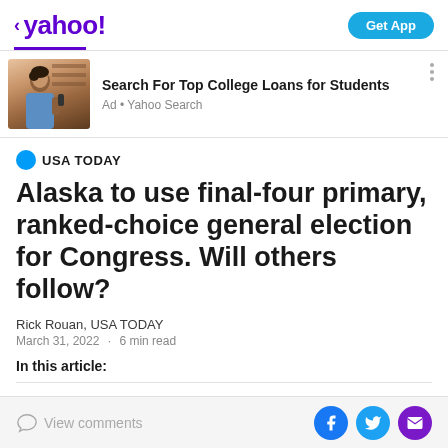< yahoo!   Get App
[Figure (screenshot): Yahoo News mobile app navigation bar with back arrow, Yahoo logo in purple, and blue 'Get App' button]
Search For Top College Loans for Students
Ad • Yahoo Search
USA TODAY
Alaska to use final-four primary, ranked-choice general election for Congress. Will others follow?
Rick Rouan, USA TODAY
March 31, 2022 · 6 min read
In this article:
View comments